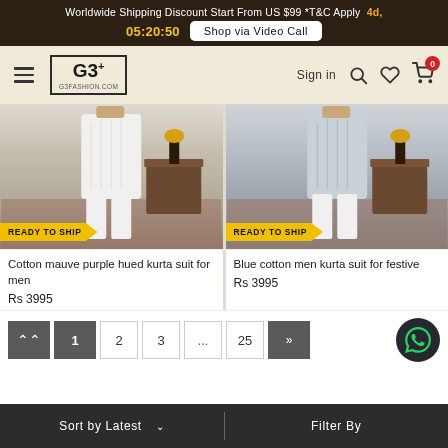Worldwide Shipping Discount Start From US $99 *T&C Apply  4d,  05:20:50  Shop via Video Call
G3+ G3FASHION.COM  Sign in  0
[Figure (photo): White cotton kurta suit on mannequin with READY TO SHIP badge]
[Figure (photo): Blue cotton men kurta suit on mannequin with READY TO SHIP badge]
Cotton mauve purple hued kurta suit for men
Rs 3995
Blue cotton men kurta suit for festive
Rs 3995
« 1 2 3 ... 25 »
Sort by Latest  ∨  |  Filter By